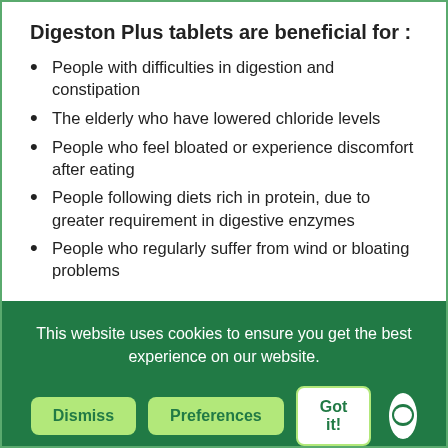Digeston Plus tablets are beneficial for :
People with difficulties in digestion and constipation
The elderly who have lowered chloride levels
People who feel bloated or experience discomfort after eating
People following diets rich in protein, due to greater requirement in digestive enzymes
People who regularly suffer from wind or bloating problems
This website uses cookies to ensure you get the best experience on our website.
daily with meals. Do not exceed recommended daily